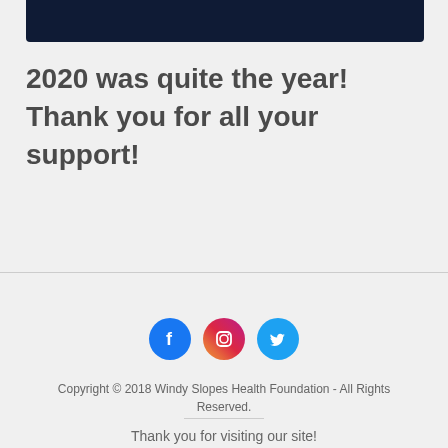[Figure (other): Dark navy blue banner at top of page]
2020 was quite the year!  Thank you for all your support!
[Figure (infographic): Three social media icons: Facebook (blue circle with F), Instagram (gradient pink circle with camera), Twitter (blue circle with bird)]
Copyright © 2018 Windy Slopes Health Foundation - All Rights Reserved.
Thank you for visiting our site!